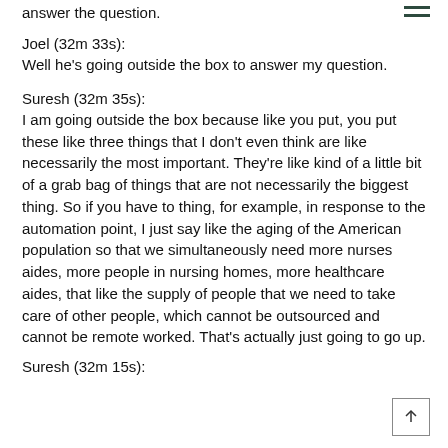answer the question.
Joel (32m 33s):
Well he's going outside the box to answer my question.
Suresh (32m 35s):
I am going outside the box because like you put, you put these like three things that I don't even think are like necessarily the most important. They're like kind of a little bit of a grab bag of things that are not necessarily the biggest thing. So if you have to thing, for example, in response to the automation point, I just say like the aging of the American population so that we simultaneously need more nurses aides, more people in nursing homes, more healthcare aides, that like the supply of people that we need to take care of other people, which cannot be outsourced and cannot be remote worked. That's actually just going to go up.
Suresh (32m 15s):